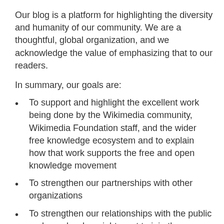Our blog is a platform for highlighting the diversity and humanity of our community. We are a thoughtful, global organization, and we acknowledge the value of emphasizing that to our readers.
In summary, our goals are:
To support and highlight the excellent work being done by the Wikimedia community, Wikimedia Foundation staff, and the wider free knowledge ecosystem and to explain how that work supports the free and open knowledge movement
To strengthen our partnerships with other organizations
To strengthen our relationships with the public and people who might want to join the Wikimedia Foundation or contribute to our projects